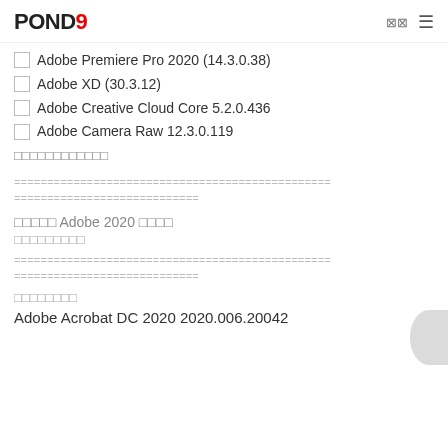POND9
☐ Adobe Premiere Pro 2020 (14.3.0.38)
☐ Adobe XD (30.3.12)
☐ Adobe Creative Cloud Core 5.2.0.436
☐ Adobe Camera Raw 12.3.0.119
□□□□□□□□□□□□
================================================
============================
□□□□□ Adobe 2020 □□□□
□□□□□□□□□
================================================
============================
□□□□□□□□
Adobe Acrobat DC 2020 2020.006.20042